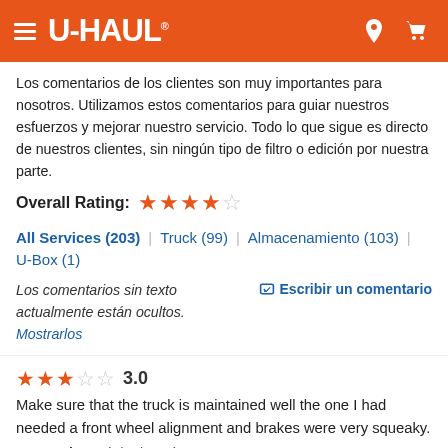U-HAUL
Los comentarios de los clientes son muy importantes para nosotros. Utilizamos estos comentarios para guiar nuestros esfuerzos y mejorar nuestro servicio. Todo lo que sigue es directo de nuestros clientes, sin ningún tipo de filtro o edición por nuestra parte.
Overall Rating: ★★★★☆
All Services (203) | Truck (99) | Almacenamiento (103) | U-Box (1)
Los comentarios sin texto actualmente están ocultos. Mostrarlos
Escribir un comentario
★★★☆☆ 3.0
Make sure that the truck is maintained well the one I had needed a front wheel alignment and brakes were very squeaky.
— Angela D. (8/27/2022)